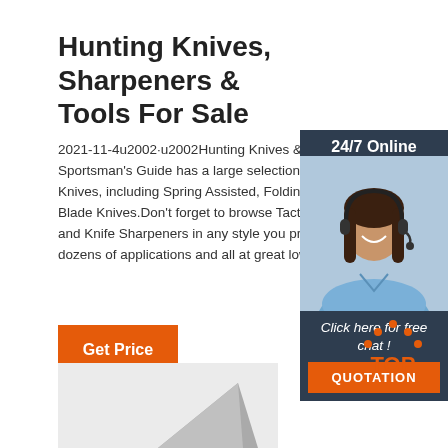Hunting Knives, Sharpeners & Tools For Sale
2021-11-4u2002·u2002Hunting Knives & Tools - Sportsman's Guide has a large selection of Hunting Knives, including Spring Assisted, Folding, and Fixed Blade Knives.Don't forget to browse Tactical Knives and Knife Sharpeners in any style you prefer and for dozens of applications and all at great low prices.
[Figure (other): Orange 'Get Price' button]
[Figure (other): 24/7 Online chat widget with customer service representative photo, 'Click here for free chat!' text and orange QUOTATION button]
[Figure (logo): TOP logo with orange dots arc and orange text]
[Figure (other): Bottom partial image showing what appears to be a knife blade in gray]